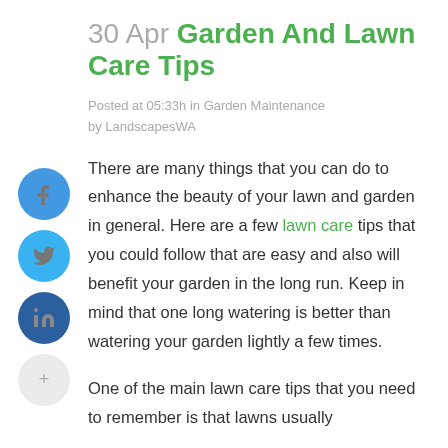30 Apr Garden And Lawn Care Tips
Posted at 05:33h in Garden Maintenance by LandscapesWA
There are many things that you can do to enhance the beauty of your lawn and garden in general. Here are a few lawn care tips that you could follow that are easy and also will benefit your garden in the long run. Keep in mind that one long watering is better than watering your garden lightly a few times.
One of the main lawn care tips that you need to remember is that lawns usually